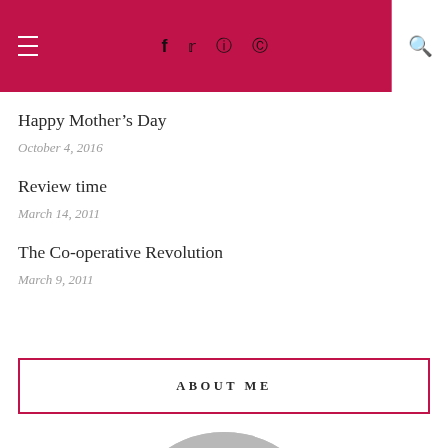Navigation header with hamburger menu, social icons (f, Twitter, Instagram, Pinterest), and search button
Happy Mother’s Day
October 4, 2016
Review time
March 14, 2011
The Co-operative Revolution
March 9, 2011
ABOUT ME
[Figure (photo): Black and white circular portrait photo of a person, cropped to show top of head/hair, partially visible at bottom of page]